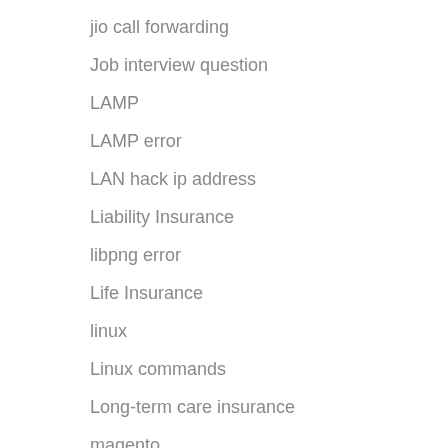jio call forwarding
Job interview question
LAMP
LAMP error
LAN hack ip address
Liability Insurance
libpng error
Life Insurance
linux
Linux commands
Long-term care insurance
magento
magento 2
mail bouncing